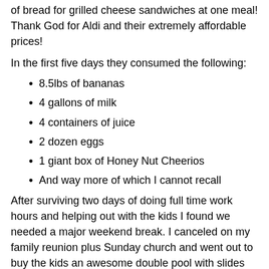of bread for grilled cheese sandwiches at one meal!  Thank God for Aldi and their extremely affordable prices!
In the first five days they consumed the following:
8.5lbs of bananas
4 gallons of milk
4 containers of juice
2 dozen eggs
1 giant box of Honey Nut Cheerios
And way more of which I cannot recall
After surviving two days of doing full time work hours and helping out with the kids I found we needed a major weekend break.  I canceled on my family reunion plus Sunday church and went out to buy the kids an awesome double pool with slides and spouts.  This gave them two days of water play - and lots of mosquito bites which added a layer of complaints but otherwise the kids seemed satisfied with our parental performance.
Maybe they learned to...